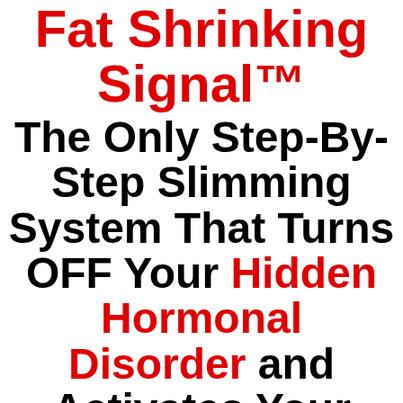Fat Shrinking Signal™ The Only Step-By-Step Slimming System That Turns OFF Your Hidden Hormonal Disorder and Activates Your Belly